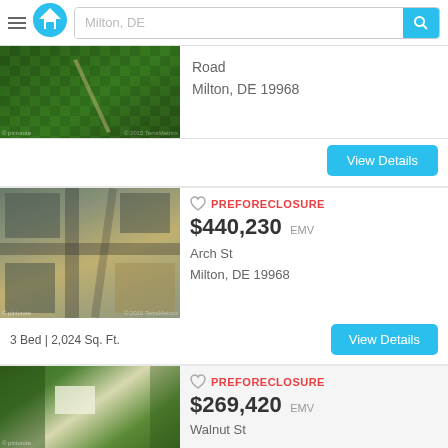Milton, DE
[Figure (photo): Satellite aerial view of a wooded area with a road (partial listing card)]
Road
Milton, DE 19968
View Details
PREFORECLOSURE
$440,230 EMV
Arch St
Milton, DE 19968
[Figure (photo): Satellite aerial view of an urban/suburban intersection with roads and buildings]
3 Bed | 2,024 Sq. Ft.
View Details
PREFORECLOSURE
$269,420 EMV
Walnut St
[Figure (photo): Satellite aerial view of a suburban area with trees and buildings]